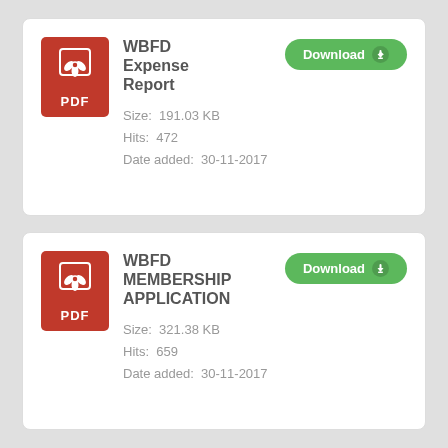[Figure (other): PDF file icon (red background with Acrobat-style symbol and PDF label) for WBFD Expense Report]
WBFD Expense Report
Size:  191.03 KB
Hits:  472
Date added:  30-11-2017
[Figure (other): PDF file icon (red background with Acrobat-style symbol and PDF label) for WBFD Membership Application]
WBFD MEMBERSHIP APPLICATION
Size:  321.38 KB
Hits:  659
Date added:  30-11-2017